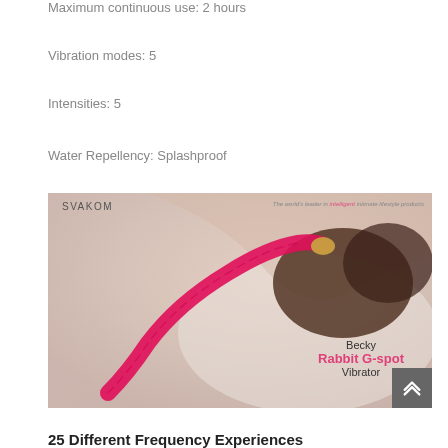Maximum continuous use: 2 hours
Vibration modes: 5
Intensities: 5
Water Repellency: Splashproof
[Figure (photo): SVAKOM Becky Rabbit G-spot Vibrator product image with model and pink vibrator on white background]
25 Different Frequency Experiences